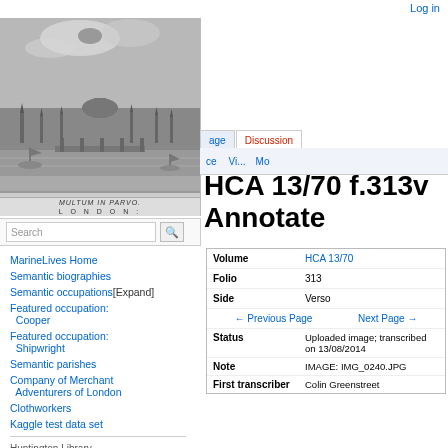Log in
[Figure (illustration): Historical engraving of London skyline with ships on the Thames. Caption reads MULTUM IN PARVO and LONDON:]
HCA 13/70 f.313v Annotate
MarineLives Home
Semantic biographies
Semantic occupations [Expand]
Featured occupation: Cooper
Featured occupation: Shipwright
Semantic parishes
Company of Merchant Adventurers of London
Clothworkers
Kaggle test data set
Huntington Library transcription experiment
Huntington Library transcription
| Field | Value |
| --- | --- |
| Volume | HCA 13/70 |
| Folio | 313 |
| Side | Verso |
| ← Previous Page | Next Page → |
| Status | Uploaded image; transcribed on 13/08/2014 |
| Note | IMAGE: IMG_0240.JPG |
| First transcriber | Colin Greenstreet |